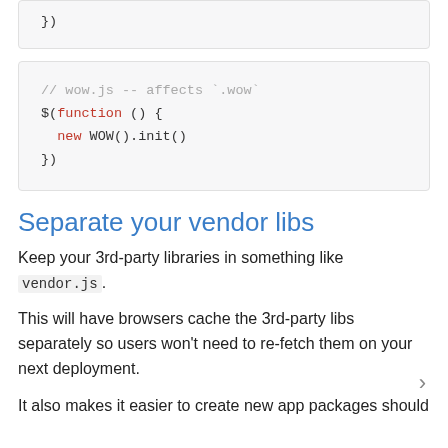[Figure (screenshot): Code block showing: }) on first line (partial, cut off from previous section)]
[Figure (screenshot): Code block showing JavaScript: // wow.js -- affects `.wow`
$(function () {
  new WOW().init()
})]
Separate your vendor libs
Keep your 3rd-party libraries in something like vendor.js.
This will have browsers cache the 3rd-party libs separately so users won't need to re-fetch them on your next deployment.
It also makes it easier to create new app packages should